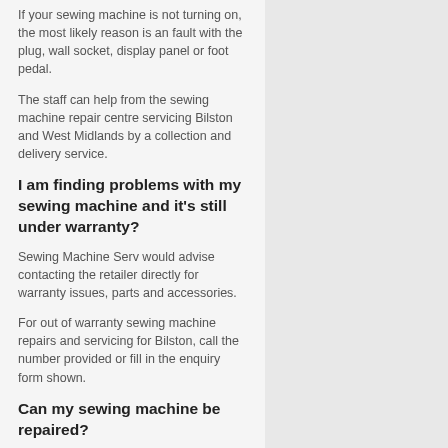If your sewing machine is not turning on, the most likely reason is an fault with the plug, wall socket, display panel or foot pedal.
The staff can help from the sewing machine repair centre servicing Bilston and West Midlands by a collection and delivery service.
I am finding problems with my sewing machine and it's still under warranty?
Sewing Machine Serv would advise contacting the retailer directly for warranty issues, parts and accessories.
For out of warranty sewing machine repairs and servicing for Bilston, call the number provided or fill in the enquiry form shown.
Can my sewing machine be repaired?
Yes most sewing machines from high quality German, Swedish and Swiss brands can be serviced such as Janome, Bernina, Brother and Singer to name but some examples.
However cheap sewing machines do not have the same build quality or parts, making a repair not worthwhile.